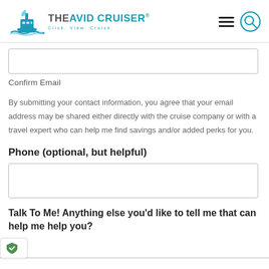[Figure (logo): The Avid Cruiser logo with cruise ship graphic and tagline 'Click. View. Cruise.']
[Figure (other): Hamburger menu icon and search (magnifying glass) icon in top right header]
Confirm Email
By submitting your contact information, you agree that your email address may be shared either directly with the cruise company or with a travel expert who can help me find savings and/or added perks for you.
Phone (optional, but helpful)
Talk To Me! Anything else you'd like to tell me that can help me help you?